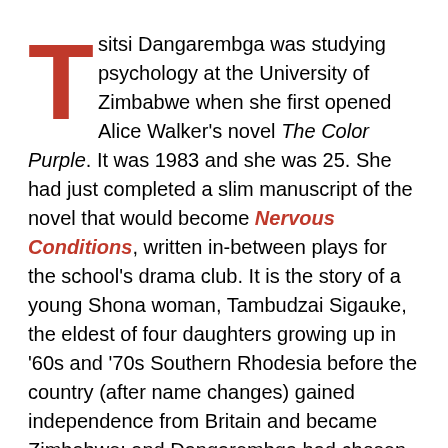Tsitsi Dangarembga was studying psychology at the University of Zimbabwe when she first opened Alice Walker's novel The Color Purple. It was 1983 and she was 25. She had just completed a slim manuscript of the novel that would become Nervous Conditions, written in-between plays for the school's drama club. It is the story of a young Shona woman, Tambudzai Sigauke, the eldest of four daughters growing up in '60s and '70s Southern Rhodesia before the country (after name changes) gained independence from Britain and became Zimbabwe; and Dangarembga had chosen to start it with an unsettling line that would eventually become classic: I was not sorry when my brother died.